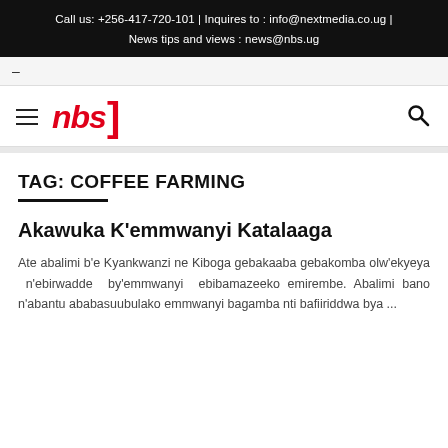Call us: +256-417-720-101 | Inquires to : info@nextmedia.co.ug | News tips and views : news@nbs.ug
[Figure (logo): NBS television logo with red text 'nbs' and red bracket, hamburger menu icon on left, search icon on right]
TAG: COFFEE FARMING
Akawuka K'emmwanyi Katalaaga
Ate abalimi b'e Kyankwanzi ne Kiboga gebakaaba gebakomba olw'ekyeya n'ebirwadde by'emmwanyi ebibamazeeko emirembe. Abalimi bano n'abantu ababasuubulako emmwanyi bagamba nti bafiiriddwa bya ...